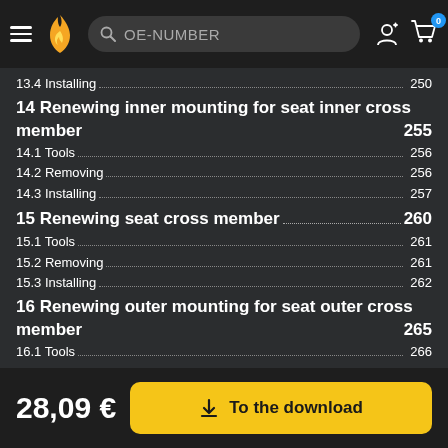Navigation bar with hamburger menu, flame logo, OE-NUMBER search, user icon, cart with 0
13.4 Installing ... 250
14 Renewing inner mounting for seat inner cross member ... 255
14.1 Tools ... 256
14.2 Removing ... 256
14.3 Installing ... 257
15 Renewing seat cross member ... 260
15.1 Tools ... 261
15.2 Removing ... 261
15.3 Installing ... 262
16 Renewing outer mounting for seat outer cross member ... 265
16.1 Tools ... 266
16.2 Removing ... 266
16.3 Installing ... 268
Body - rear ... 274
1 Overview of parts ... 274
2 Renewing rear cross panel ... 275
2.1 Tools ... 276
2.2 Removing ... 276
28,09 € | To the download